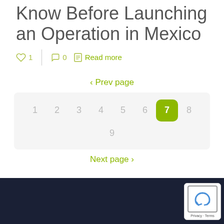Know Before Launching an Operation in Mexico
♡ 1  |  💬 0  📄 Read more
< Prev page
1 2 3 4 5 6 7 8 9
Next page >